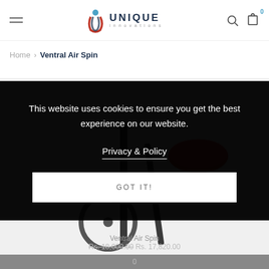UNIQUE innovations — navigation header with hamburger menu, logo, search and cart icons
Home > Ventral Air Spin
This website uses cookies to ensure you get the best experience on our website.
Privacy & Policy
GOT IT!
Ventral Air Spin  Rs. 18,000.00 Rs. 17,820.00
0